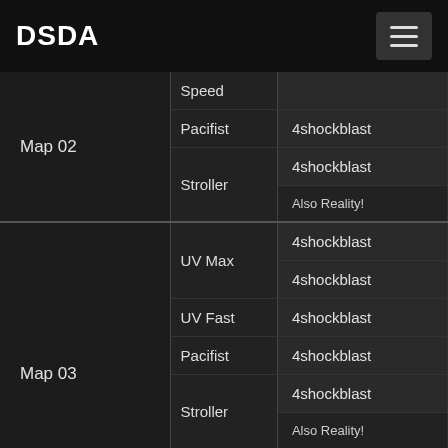DSDA
| Map | Category | Player |
| --- | --- | --- |
| Map 02 | Speed |  |
|  | Pacifist | 4shockblast |
|  | Stroller | 4shockblast |
|  |  | Also Reality! |
| Map 03 | UV Max | 4shockblast |
|  |  | 4shockblast |
|  | UV Fast | 4shockblast |
|  | Pacifist | 4shockblast |
|  | Stroller | 4shockblast |
|  |  | Also Reality! |
|  | UV Max | 4shockblast |
|  |  | 4shockblast |